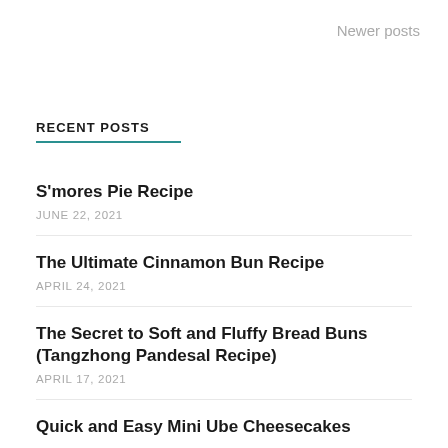Newer posts
RECENT POSTS
S'mores Pie Recipe
JUNE 22, 2021
The Ultimate Cinnamon Bun Recipe
APRIL 24, 2021
The Secret to Soft and Fluffy Bread Buns (Tangzhong Pandesal Recipe)
APRIL 17, 2021
Quick and Easy Mini Ube Cheesecakes